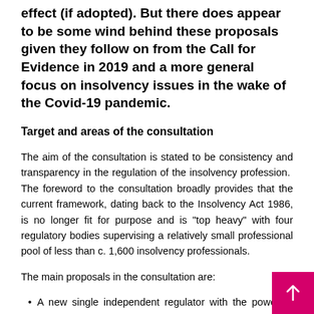effect (if adopted). But there does appear to be some wind behind these proposals given they follow on from the Call for Evidence in 2019 and a more general focus on insolvency issues in the wake of the Covid-19 pandemic.
Target and areas of the consultation
The aim of the consultation is stated to be consistency and transparency in the regulation of the insolvency profession. The foreword to the consultation broadly provides that the current framework, dating back to the Insolvency Act 1986, is no longer fit for purpose and is "top heavy" with four regulatory bodies supervising a relatively small professional pool of less than c. 1,600 insolvency professionals.
The main proposals in the consultation are:
A new single independent regulator with the power to order compensation;